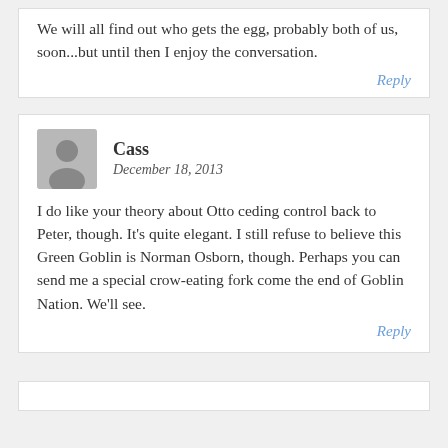We will all find out who gets the egg, probably both of us, soon...but until then I enjoy the conversation.
Reply
Cass
December 18, 2013
I do like your theory about Otto ceding control back to Peter, though. It’s quite elegant. I still refuse to believe this Green Goblin is Norman Osborn, though. Perhaps you can send me a special crow-eating fork come the end of Goblin Nation. We’ll see.
Reply